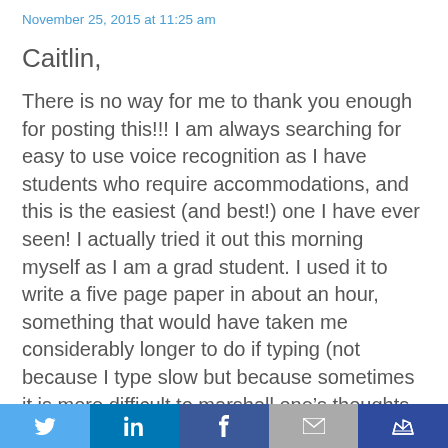November 25, 2015 at 11:25 am
Caitlin,
There is no way for me to thank you enough for posting this!!! I am always searching for easy to use voice recognition as I have students who require accommodations, and this is the easiest (and best!) one I have ever seen! I actually tried it out this morning myself as I am a grad student. I used it to write a five page paper in about an hour, something that would have taken me considerably longer to do if typing (not because I type slow but because sometimes it is more difficult to marshall one’s thoughts while typing than it is while speaking). I will definitely be using this in the future for both myself
Twitter LinkedIn Facebook Email Crown